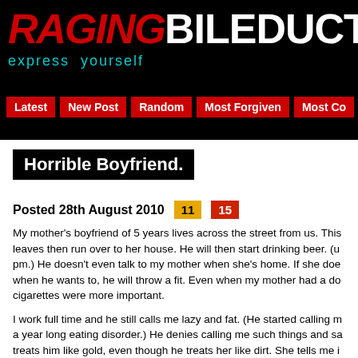[Figure (screenshot): Website header with 'RAGING BileDuct' logo in red and white grunge text on black background, with tagline 'express yourself' in teal]
Latest | New Post | Random | Most Forgiven | Most Co...
Horrible Boyfriend.
Posted 28th August 2010   11  15
My mother's boyfriend of 5 years lives across the street from us. This leaves then run over to her house. He will then start drinking beer. (u pm.) He doesn't even talk to my mother when she's home. If she doe when he wants to, he will throw a fit. Even when my mother had a do cigarettes were more important.
I work full time and he still calls me lazy and fat. (He started calling m a year long eating disorder.) He denies calling me such things and sa treats him like gold, even though he treats her like dirt. She tells me i Well, I tried for five long years to deal with this. I tried to help her. I'm